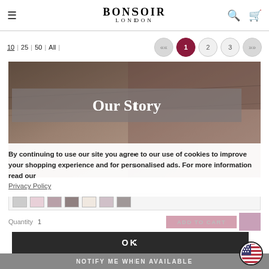Bonsoir London — website header with navigation, search, and cart icons
10 | 25 | 50 | All |
« 1 2 3 »
[Figure (photo): Product lifestyle/texture photograph used as background]
Our Story
By continuing to use our site you agree to our use of cookies to improve your shopping experience and for personalised ads. For more information read our Privacy Policy
Quantity  1  ADD TO CART
OK
NOTIFY ME WHEN AVAILABLE